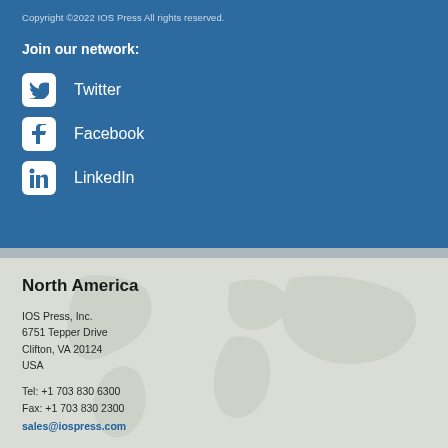Copyright ©2022 IOS Press All rights reserved.
Join our network:
Twitter
Facebook
LinkedIn
North America
IOS Press, Inc.
6751 Tepper Drive
Clifton, VA 20124
USA
Tel: +1 703 830 6300
Fax: +1 703 830 2300
sales@iospress.com
For editorial issues, like the status of your submitted paper or proposals, write to editorial@iospress.nl